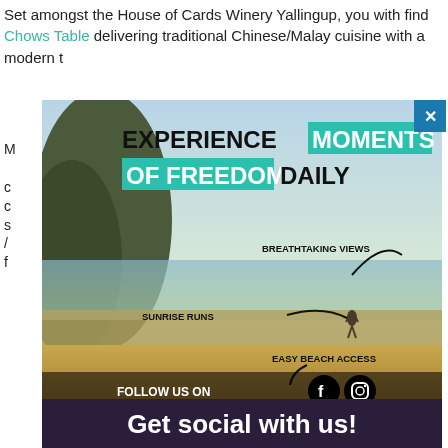Set amongst the House of Cards Winery Yallingup, you with find Chows Table delivering traditional Chinese/Malay cuisine with a modern t
[Figure (infographic): Advertisement overlay showing a beach scene with headline 'EXPERIENCE MOMENTS OF FREEDOM DAILY', labels for SUNRISE RUNS, BREATHTAKING VIEWS, EASY BEACH ACCESS, and social media follow icons for Facebook and Instagram. Bottom has dark footer 'Get social with us!'. Close button top-right.]
FOLLOW US ON
Get social with us!